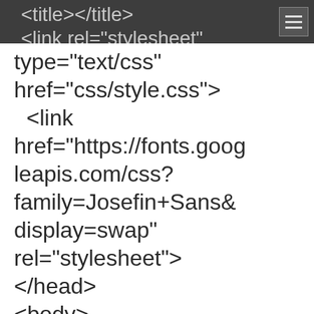<title></title>  <link rel="stylesheet"
type="text/css" href="css/style.css">
  <link
href="https://fonts.googleapis.com/css?family=Josefin+Sans&display=swap"
rel="stylesheet">
</head>
<body>

<header>